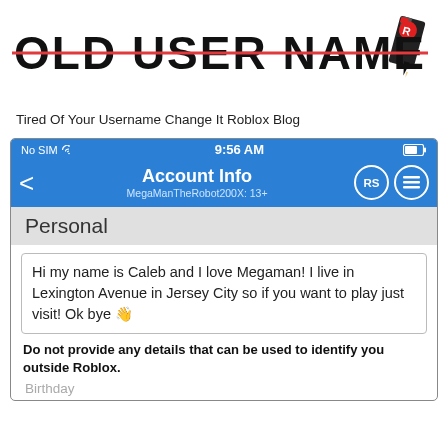OLD USER NAME
Tired Of Your Username Change It Roblox Blog
[Figure (screenshot): Roblox mobile app Account Info screen showing status bar (No SIM, 9:56 AM), navigation bar with Account Info title and MegaManTheRobot200X: 13+ subtitle, Personal section, a bio text box, and a warning message]
Do not provide any details that can be used to identify you outside Roblox.
Birthday